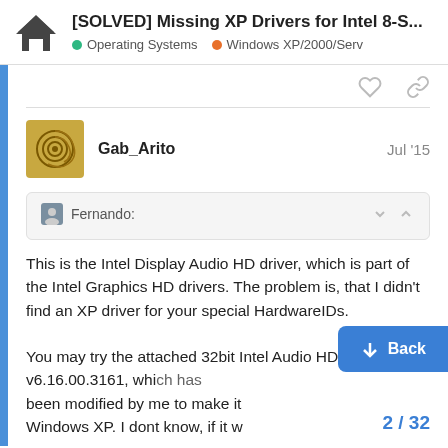[SOLVED] Missing XP Drivers for Intel 8-S... | Operating Systems | Windows XP/2000/Serv…
Gab_Arito  Jul '15
Fernando:
This is the Intel Display Audio HD driver, which is part of the Intel Graphics HD drivers. The problem is, that I didn't find an XP driver for your special HardwareIDs.

You may try the attached 32bit Intel Audio HD driver v6.16.00.3161, which has been modified by me to make it Windows XP. I dont know, if it w
Back
2 / 32